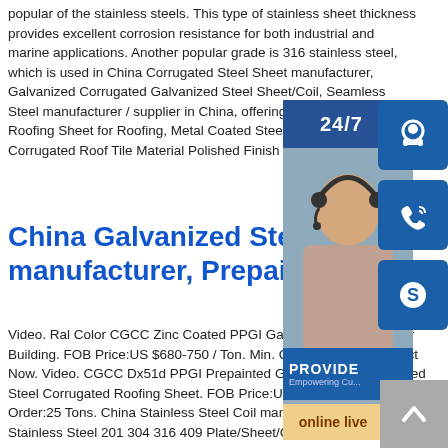popular of the stainless steels. This type of stainless sheet thickness provides excellent corrosion resistance for both industrial and marine applications. Another popular grade is 316 stainless steel, which is used in China Corrugated Steel Sheet manufacturer, Galvanized Corrugated Galvanized Steel Sheet/Coil, Seamless Steel manufacturer / supplier in China, offering Factory Corrugated Roofing Sheet for Roofing, Metal Coated Steel Ridge Tile Corrugated Roof Tile Material Polished Finish 304 Metal Stainless
[Figure (infographic): 24/7 chat support widget with customer service representative photo, headset icon, phone icon, Skype icon, PROVIDE Empowering Customers bar, and online live button]
China Galvanized Steel Coil manufacturer, Prepainted
Video. Ral Color CGCC Zinc Coated PPGI Galvanized Steel Coil for Building. FOB Price:US $680-750 / Ton. Min. Order:25 Tons. Contact Now. Video. CGCC Dx51d PPGI Prepainted Galvanized Color Coated Steel Corrugated Roofing Sheet. FOB Price:US $700-750 / Ton. Min. Order:25 Tons. China Stainless Steel Coil manufacturer, Stainless Steel Stainless Steel 201 304 316 409 Plate/Sheet/Coil/Strip/201 Ss 304